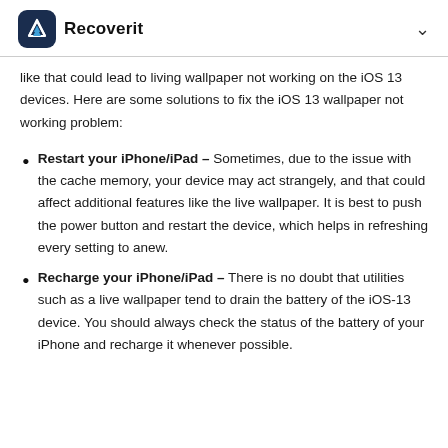Recoverit
like that could lead to living wallpaper not working on the iOS 13 devices. Here are some solutions to fix the iOS 13 wallpaper not working problem:
Restart your iPhone/iPad – Sometimes, due to the issue with the cache memory, your device may act strangely, and that could affect additional features like the live wallpaper. It is best to push the power button and restart the device, which helps in refreshing every setting to anew.
Recharge your iPhone/iPad – There is no doubt that utilities such as a live wallpaper tend to drain the battery of the iOS-13 device. You should always check the status of the battery of your iPhone and recharge it whenever possible.